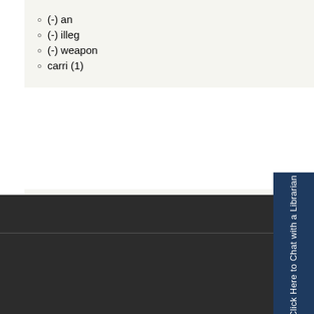(-) an
(-) illeg
(-) weapon
carri (1)
Filter by court origin:
(-) circuit
crimin (1)
| View Entry | Year | Case Name |
| --- | --- | --- |
| View Entry | 1912 | Pete Sharp v. State |
Click Here to Chat with a Librarian